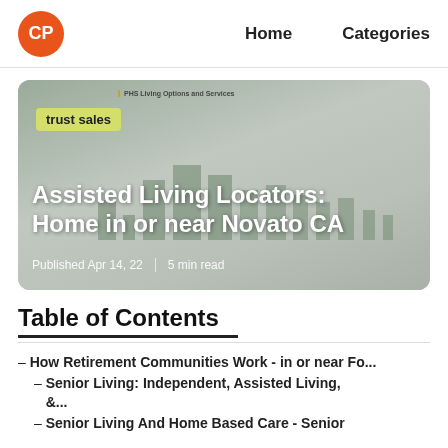CP | Home | Categories
[Figure (infographic): Hero image showing an infographic of PHS Living Options and Services with building silhouettes and statistics. Overlaid with a 'trust sales' label badge, large white title text 'Assisted Living Locators: Home in or near Novato CA', and publication metadata.]
Assisted Living Locators: Home in or near Novato CA
Published Apr 14, 22 | 5 min read
Table of Contents
– How Retirement Communities Work - in or near Fo...
– Senior Living: Independent, Assisted Living, &...
– Senior Living And Home Based Care - Senior